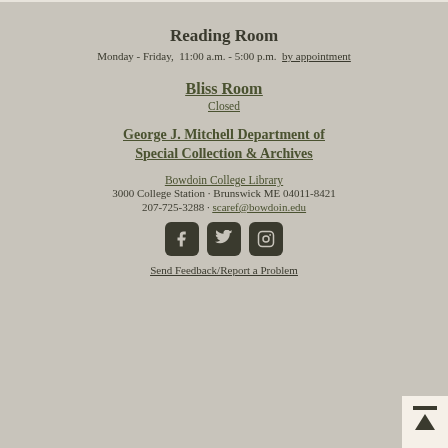Reading Room
Monday - Friday,  11:00 a.m. - 5:00 p.m.  by appointment
Bliss Room
Closed
George J. Mitchell Department of Special Collection & Archives
Bowdoin College Library
3000 College Station · Brunswick ME 04011-8421
207-725-3288 · scaref@bowdoin.edu
[Figure (infographic): Three social media icon buttons: Facebook, Twitter, Instagram]
Send Feedback/Report a Problem